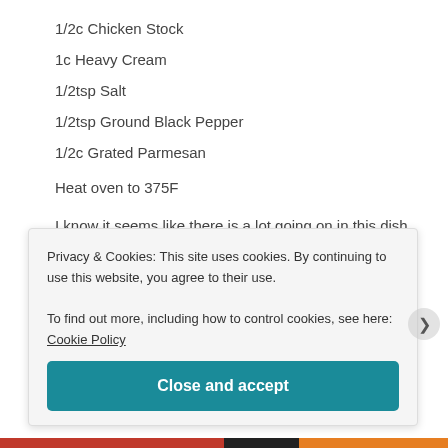1/2c Chicken Stock
1c Heavy Cream
1/2tsp Salt
1/2tsp Ground Black Pepper
1/2c Grated Parmesan
Heat oven to 375F
I know it seems like there is a lot going on in this dish, but trust me when I say it's super easy to make. I will warn you though, it makes a LOT of dirty dishes… lol
Privacy & Cookies: This site uses cookies. By continuing to use this website, you agree to their use.
To find out more, including how to control cookies, see here: Cookie Policy
Close and accept